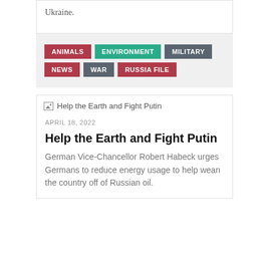Ukraine.
ANIMALS
ENVIRONMENT
MILITARY
NEWS
WAR
RUSSIA FILE
[Figure (photo): Help the Earth and Fight Putin - article thumbnail image placeholder]
APRIL 18, 2022
Help the Earth and Fight Putin
German Vice-Chancellor Robert Habeck urges Germans to reduce energy usage to help wean the country off of Russian oil.